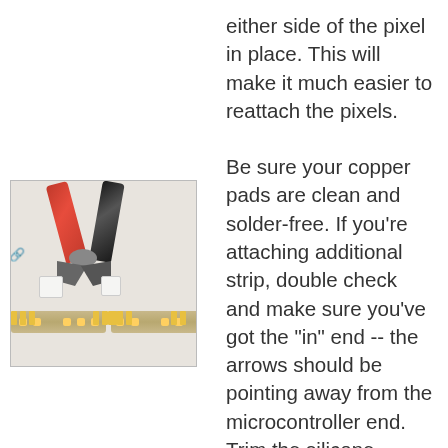either side of the pixel in place. This will make it much easier to reattach the pixels.
[Figure (photo): Photo showing a pair of red-handled wire cutters/pliers above an LED strip that has been cut, with two small white pixel components removed and sitting beside the strip on a white surface.]
Be sure your copper pads are clean and solder-free. If you're attaching additional strip, double check and make sure you've got the "in" end -- the arrows should be pointing away from the microcontroller end. Trim the silicone casing back so you have plenty of room to work. Take a